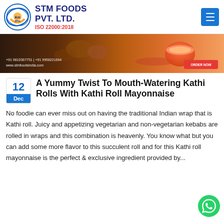STM FOODS PVT. LTD. ISO 22000:2018
[Figure (photo): Promotional banner for STM Foods showing food items and a bowl of sauce. Text reads: +91 9810367751 | +91 9958221664, www.stmfoodsindia.com, ORDER NOW]
A Yummy Twist To Mouth-Watering Kathi Rolls With Kathi Roll Mayonnaise
No foodie can ever miss out on having the traditional Indian wrap that is Kathi roll. Juicy and appetizing vegetarian and non-vegetarian kebabs are rolled in wraps and this combination is heavenly. You know what but you can add some more flavor to this succulent roll and for this Kathi roll mayonnaise is the perfect & exclusive ingredient provided by...